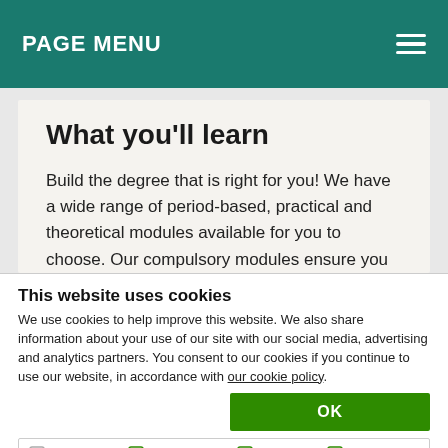PAGE MENU
What you'll learn
Build the degree that is right for you! We have a wide range of period-based, practical and theoretical modules available for you to choose. Our compulsory modules ensure you receive a solid training in archaeological research while our optional modules allow you to specialise in particular fields of interest. Lectures, seminars and practical activities give you an understanding of the interpretive approaches that
This website uses cookies
We use cookies to help improve this website. We also share information about your use of our site with our social media, advertising and analytics partners. You consent to our cookies if you continue to use our website, in accordance with our cookie policy.
OK
Necessary  Preferences  Statistics  Marketing